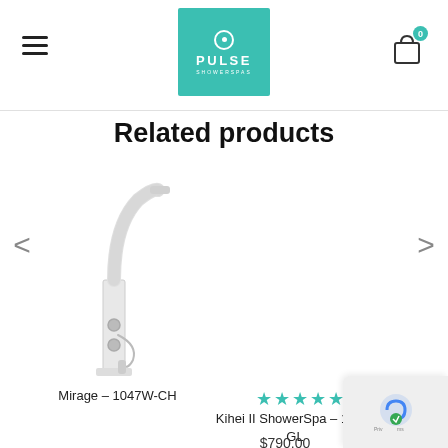PULSE ShowerSpas navigation header with logo, hamburger menu, and cart
Related products
[Figure (photo): White shower panel product - Mirage 1047W-CH]
Mirage – 1047W-CH
[Figure (photo): Glass shower panel product - Kihei II ShowerSpa 1013-GL with shopping bag icon overlay]
Kihei II ShowerSpa – 1013-GL
$790.00